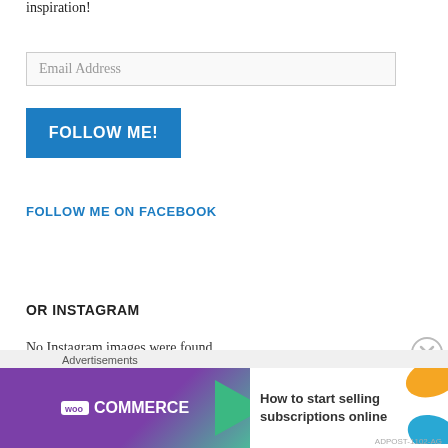inspiration!
Email Address
FOLLOW ME!
FOLLOW ME ON FACEBOOK
OR INSTAGRAM
No Instagram images were found.
[Figure (other): WooCommerce advertisement banner: 'How to start selling subscriptions online']